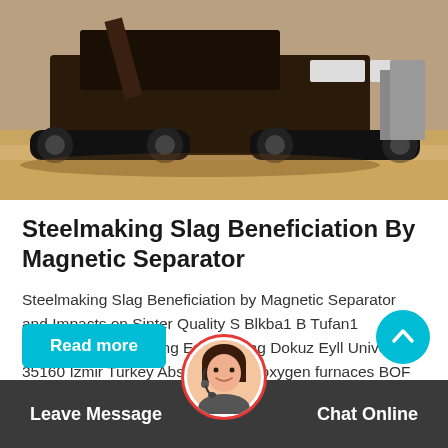[Figure (photo): Heavy industrial crawler-mounted crushing machine at a mining/quarry site with sandy terrain and equipment in background]
Steelmaking Slag Beneficiation By Magnetic Separator
Steelmaking Slag Beneficiation by Magnetic Separator and Impacts on Sinter Quality S Blkba1 B Tufan1 1Department of Mining Engineering Dokuz Eyll University 35160 Izmir Turkey Abstract Basic oxygen furnaces BOF slag is the main problem at all iron and steel factories
Read more
Leave Message   Chat Online